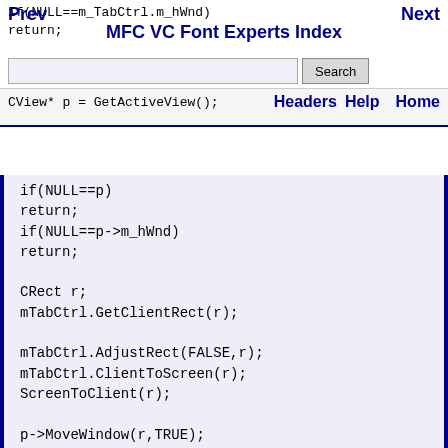Prev   Next   MFC VC Font Experts Index
if(NULL==m_TabCtrl.m_hWnd)
return;
Search
CView* p = GetActiveView();   Headers   Help   Home
if(NULL==p)
return;
if(NULL==p->m_hWnd)
return;

CRect r;
mTabCtrl.GetClientRect(r);

mTabCtrl.AdjustRect(FALSE,r);
mTabCtrl.ClientToScreen(r);
ScreenToClient(r);

p->MoveWindow(r,TRUE);

}
The problem is that the new view is not refreshed correctly (rows does
not appear,...),I have tried nearly everything,with no success...
If I defines views in the OnCreateClient functions,it